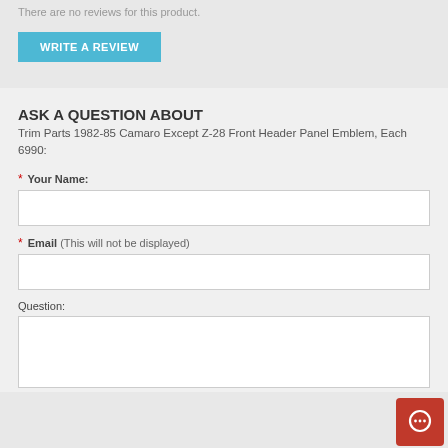There are no reviews for this product.
WRITE A REVIEW
ASK A QUESTION ABOUT Trim Parts 1982-85 Camaro Except Z-28 Front Header Panel Emblem, Each 6990:
* Your Name:
* Email (This will not be displayed)
Question: